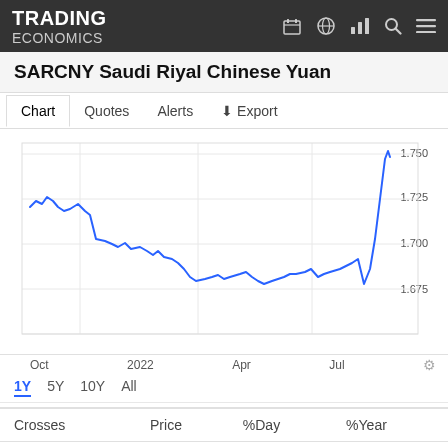TRADING ECONOMICS
SARCNY Saudi Riyal Chinese Yuan
Chart  Quotes  Alerts  Export
[Figure (line-chart): Line chart showing SARCNY exchange rate from Oct 2021 to Jul 2022. Rate starts around 1.725, declines to ~1.675 around Apr 2022, then spikes sharply above 1.750 near May 2022.]
Oct  2022  Apr  Jul
1Y  5Y  10Y  All
| Crosses | Price | %Day | %Year |
| --- | --- | --- | --- |
|  |  |  |  |